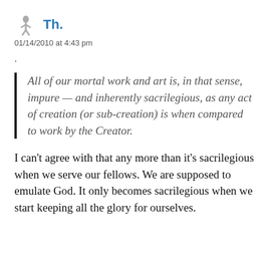Th.
01/14/2010 at 4:43 pm
.
All of our mortal work and art is, in that sense, impure — and inherently sacrilegious, as any act of creation (or sub-creation) is when compared to work by the Creator.
I can't agree with that any more than it's sacrilegious when we serve our fellows. We are supposed to emulate God. It only becomes sacrilegious when we start keeping all the glory for ourselves.